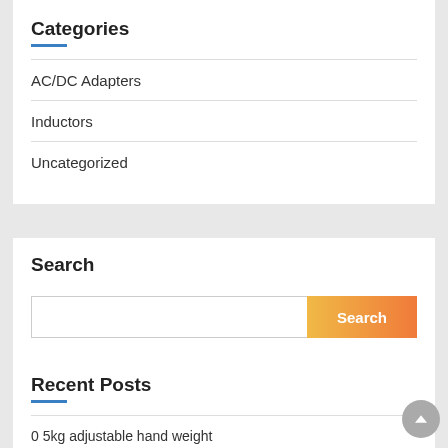Categories
AC/DC Adapters
Inductors
Uncategorized
Search
Recent Posts
0 5kg adjustable hand weight